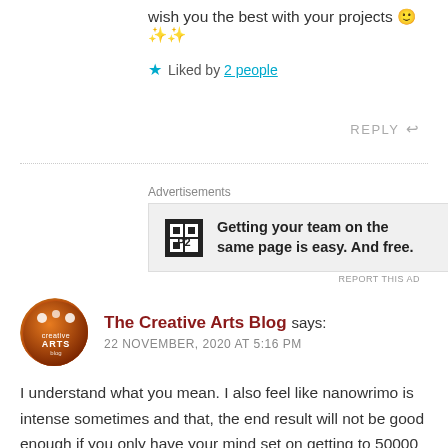wish you the best with your projects 🙂✨✨
★ Liked by 2 people
REPLY ↩
Advertisements
[Figure (other): P2 advertisement banner: Getting your team on the same page is easy. And free.]
REPORT THIS AD
The Creative Arts Blog says:
22 NOVEMBER, 2020 AT 5:16 PM
I understand what you mean. I also feel like nanowrimo is intense sometimes and that, the end result will not be good enough if you only have your mind set on getting to 50000 words. I believe you